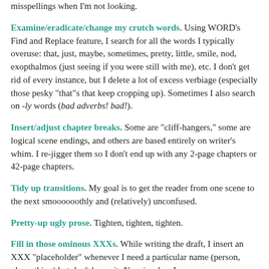misspellings when I'm not looking.
Examine/eradicate/change my crutch words. Using WORD's Find and Replace feature, I search for all the words I typically overuse: that, just, maybe, sometimes, pretty, little, smile, nod, exopthalmos (just seeing if you were still with me), etc. I don't get rid of every instance, but I delete a lot of excess verbiage (especially those pesky "that"s that keep cropping up). Sometimes I also search on -ly words (bad adverbs! bad!).
Insert/adjust chapter breaks. Some are "cliff-hangers," some are logical scene endings, and others are based entirely on writer's whim. I re-jigger them so I don't end up with any 2-page chapters or 42-page chapters.
Tidy up transitions. My goal is to get the reader from one scene to the next smoooooothly and (relatively) unconfused.
Pretty-up ugly prose. Tighten, tighten, tighten.
Fill in those ominous XXXs. While writing the draft, I insert an XXX "placeholder" whenever I need a particular name (person, place, thing) but don't know it. Now is when I